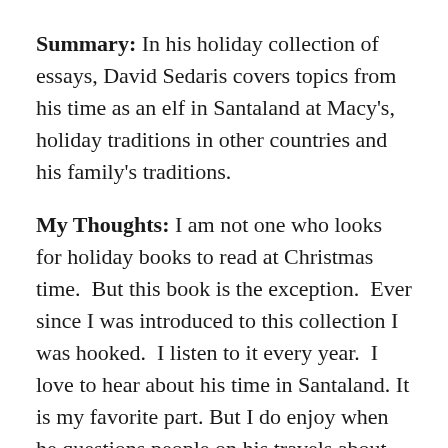Summary: In his holiday collection of essays, David Sedaris covers topics from his time as an elf in Santaland at Macy's, holiday traditions in other countries and his family's traditions.
My Thoughts: I am not one who looks for holiday books to read at Christmas time.  But this book is the exception.  Ever since I was introduced to this collection I was hooked.  I listen to it every year.  I love to hear about his time in Santaland. It is my favorite part. But I do enjoy when he questions people on his travels about their local traditions. I wish I would have thought about this while traveling abroad.